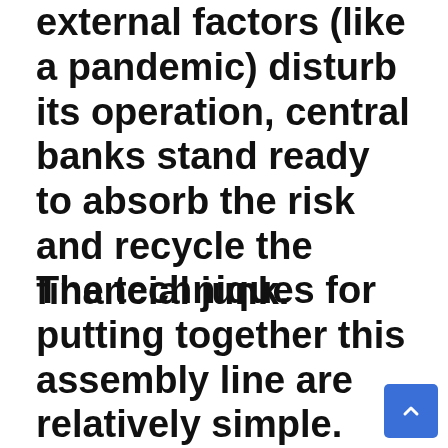external factors (like a pandemic) disturb its operation, central banks stand ready to absorb the risk and recycle the financial junk.
The techniques for putting together this assembly line are relatively simple. You buy a bunch of claims at a discount from loan originators, and the